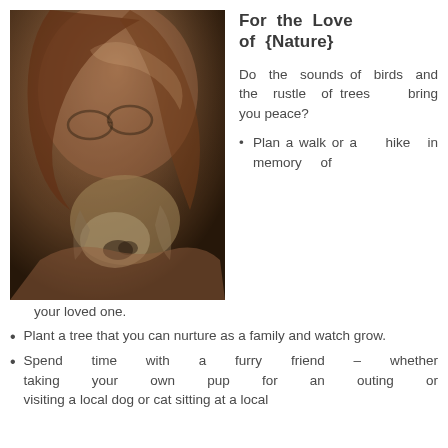[Figure (photo): A woman with long red hair and glasses tenderly holding and nuzzling a dog (appears to be a beagle-mix with a light-colored muzzle), dark warm-toned photograph]
For the Love of {Nature}
Do the sounds of birds and the rustle of trees bring you peace?
Plan a walk or a hike in memory of your loved one.
Plant a tree that you can nurture as a family and watch grow.
Spend time with a furry friend – whether taking your own pup for an outing or visiting a local dog or cat sitting at a local